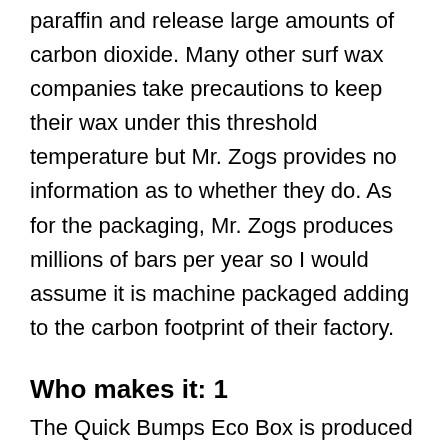combustion can burn the hydrocarbons in the paraffin and release large amounts of carbon dioxide. Many other surf wax companies take precautions to keep their wax under this threshold temperature but Mr. Zogs provides no information as to whether they do. As for the packaging, Mr. Zogs produces millions of bars per year so I would assume it is machine packaged adding to the carbon footprint of their factory.
Who makes it: 1
The Quick Bumps Eco Box is produced by Zog Industries, also known as Mr. Zogs Sex Wax. It is produced in a factory located in Carpinteria